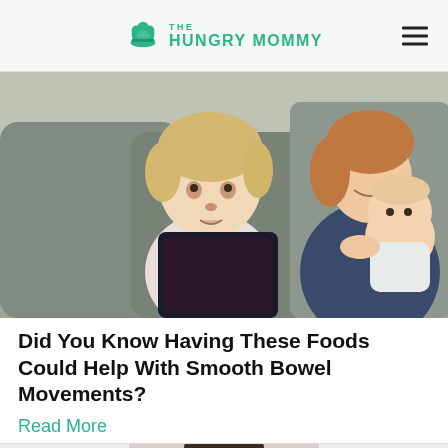THE HUNGRY MOMMY
[Figure (photo): A mother sitting on a couch holding a baby, while a toddler looks at a tablet device]
Did You Know Having These Foods Could Help With Smooth Bowel Movements?
Read More
[Figure (photo): Partial view of a woman's face, used in an advertisement section]
ADVERTISEMENT